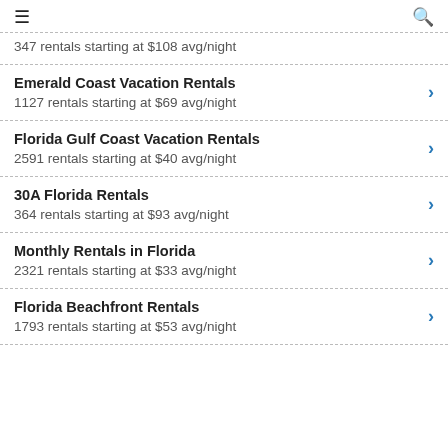≡  🔍
347 rentals starting at $108 avg/night
Emerald Coast Vacation Rentals
1127 rentals starting at $69 avg/night
Florida Gulf Coast Vacation Rentals
2591 rentals starting at $40 avg/night
30A Florida Rentals
364 rentals starting at $93 avg/night
Monthly Rentals in Florida
2321 rentals starting at $33 avg/night
Florida Beachfront Rentals
1793 rentals starting at $53 avg/night